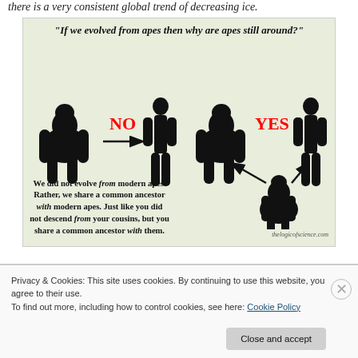there is a very consistent global trend of decreasing ice.
[Figure (infographic): Infographic on light green background explaining evolution misconception. Quote at top: 'If we evolved from apes then why are apes still around?' Left side shows a gorilla with an arrow pointing to a human silhouette labeled NO. Right side shows a gorilla and human silhouette labeled YES with arrows pointing to a common ancestor ape below them. Text reads: 'We did not evolve from modern apes. Rather, we share a common ancestor with modern apes. Just like you did not descend from your cousins, but you share a common ancestor with them.' Attribution: thelogicofscience.com]
Privacy & Cookies: This site uses cookies. By continuing to use this website, you agree to their use.
To find out more, including how to control cookies, see here: Cookie Policy
Close and accept